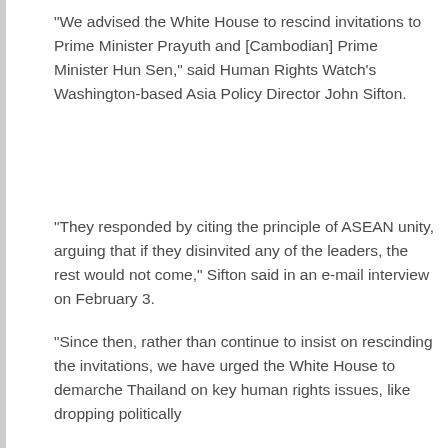"We advised the White House to rescind invitations to Prime Minister Prayuth and [Cambodian] Prime Minister Hun Sen," said Human Rights Watch's Washington-based Asia Policy Director John Sifton.
"They responded by citing the principle of ASEAN unity, arguing that if they disinvited any of the leaders, the rest would not come," Sifton said in an e-mail interview on February 3.
"Since then, rather than continue to insist on rescinding the invitations, we have urged the White House to demarche Thailand on key human rights issues, like dropping politically motivated prosecutions...